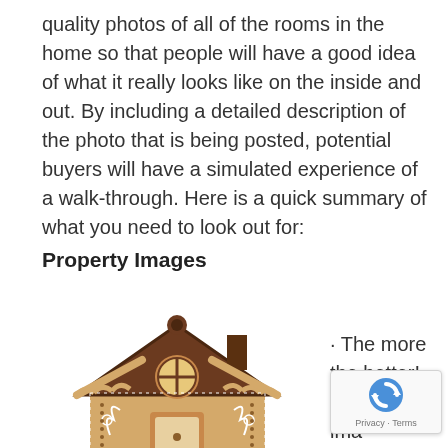quality photos of all of the rooms in the home so that people will have a good idea of what it really looks like on the inside and out. By including a detailed description of the photo that is being posted, potential buyers will have a simulated experience of a walk-through. Here is a quick summary of what you need to look out for:
Property Images
[Figure (illustration): Cartoon/illustration of a gingerbread-style house with a brown roof, round window, decorative door, and white dot details on a white background.]
· The more the better! Mu... ima... of rooms...